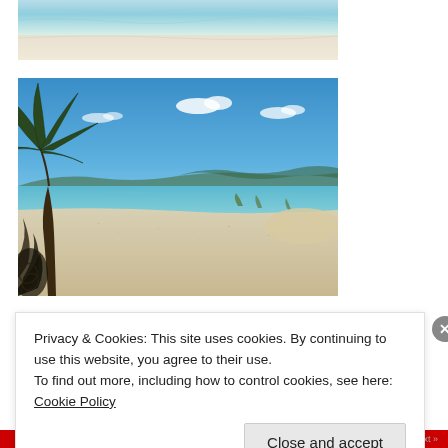[Figure (photo): Partial top view of turquoise ocean water with white sandy beach, cropped at top of page]
[Figure (photo): Tropical beach scene with palm tree on left, white sandy beach, turquoise water, blue sky with light clouds, and low hills in background]
Privacy & Cookies: This site uses cookies. By continuing to use this website, you agree to their use.
To find out more, including how to control cookies, see here: Cookie Policy
Close and accept